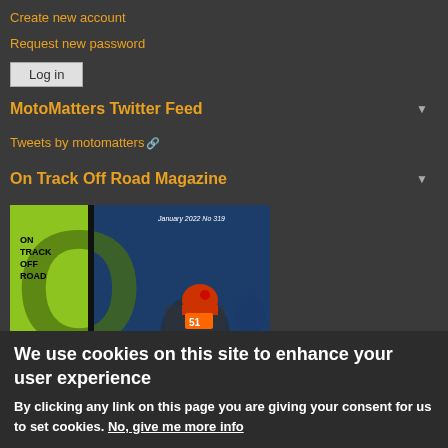Create new account
Request new password
Log in
MotoMatters Twitter Feed
Tweets by motomatters
On Track Off Road Magazine
[Figure (photo): Cover of On Track Off Road Magazine, January 2022 No 319, showing a motocross rider with number 51 on a green and blue background]
We use cookies on this site to enhance your user experience
By clicking any link on this page you are giving your consent for us to set cookies. No, give me more info